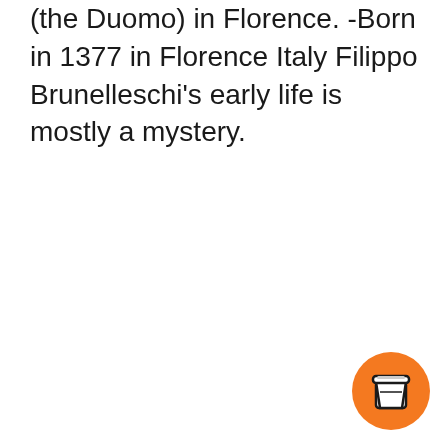(the Duomo) in Florence. -Born in 1377 in Florence Italy Filippo Brunelleschi's early life is mostly a mystery.
[Figure (illustration): Orange circular button with a to-go coffee cup icon in the bottom-right corner]